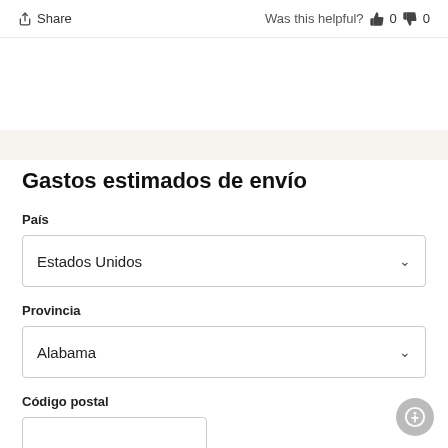Share   Was this helpful?  👍 0  👎 0
Gastos estimados de envío
País
Estados Unidos
Provincia
Alabama
Código postal